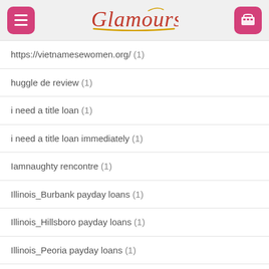Glamours
https://vietnamesewomen.org/ (1)
huggle de review (1)
i need a title loan (1)
i need a title loan immediately (1)
Iamnaughty rencontre (1)
Illinois_Burbank payday loans (1)
Illinois_Hillsboro payday loans (1)
Illinois_Peoria payday loans (1)
Illinois_Streator payday loans (1)
Ilove seite (1)